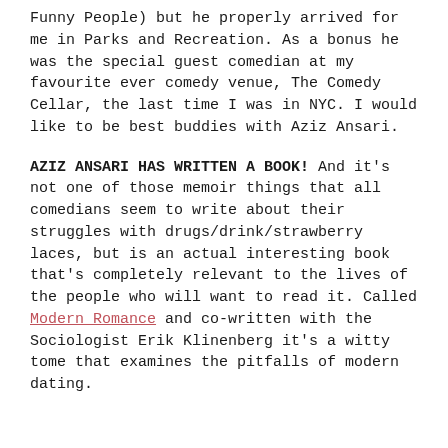Funny People) but he properly arrived for me in Parks and Recreation. As a bonus he was the special guest comedian at my favourite ever comedy venue, The Comedy Cellar, the last time I was in NYC. I would like to be best buddies with Aziz Ansari.
AZIZ ANSARI HAS WRITTEN A BOOK! And it's not one of those memoir things that all comedians seem to write about their struggles with drugs/drink/strawberry laces, but is an actual interesting book that's completely relevant to the lives of the people who will want to read it. Called Modern Romance and co-written with the Sociologist Erik Klinenberg it's a witty tome that examines the pitfalls of modern dating.